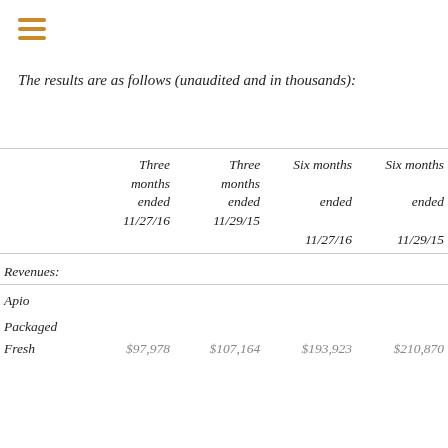[Figure (other): Hamburger menu icon with three horizontal orange/gold lines]
The results are as follows (unaudited and in thousands):
|  | Three months ended 11/27/16 | Three months ended 11/29/15 | Six months ended 11/27/16 | Six months ended 11/29/15 |
| --- | --- | --- | --- | --- |
| Revenues: |  |  |  |  |
| Apio |  |  |  |  |
| Packaged |  |  |  |  |
| Fresh | $97,978 | $107,164 | $193,923 | $210,870 |